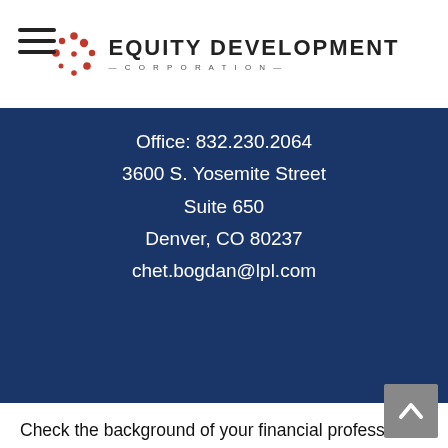[Figure (logo): Equity Development Corporation logo with red dot pattern and company name]
Office: 832.230.2064
3600 S. Yosemite Street
Suite 650
Denver, CO 80237
chet.bogdan@lpl.com
Check the background of your financial professional on FINRA's BrokerCheck.
The content is developed from sources believed to be providing accurate information. The information in this material is not intended as tax or legal advice. Please consult legal or tax professionals for specific information regarding your individual situation. Some of this material was developed and